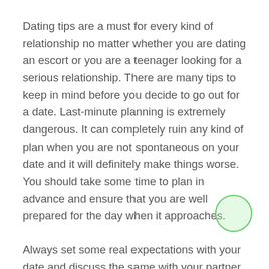Dating tips are a must for every kind of relationship no matter whether you are dating an escort or you are a teenager looking for a serious relationship. There are many tips to keep in mind before you decide to go out for a date. Last-minute planning is extremely dangerous. It can completely ruin any kind of plan when you are not spontaneous on your date and it will definitely make things worse. You should take some time to plan in advance and ensure that you are well prepared for the day when it approaches.
Always set some real expectations with your date and discuss the same with your partner. They will help you achieve the goals. You should ensure that you discuss everything with your date. Proper planning is a must